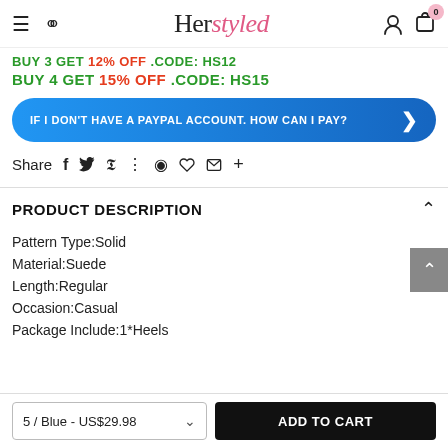Herstyled — navigation bar with hamburger, search, logo, user icon, cart (0)
BUY 3 GET 12% OFF .CODE: HS12
BUY 4 GET 15% OFF .CODE: HS15
IF I DON'T HAVE A PAYPAL ACCOUNT. HOW CAN I PAY? ›
Share  f  Twitter  Pinterest  Grid  Anchor  Heart  Mail  +
PRODUCT DESCRIPTION
Pattern Type:Solid
Material:Suede
Length:Regular
Occasion:Casual
Package Include:1*Heels
5 / Blue - US$29.98 ∨
ADD TO CART